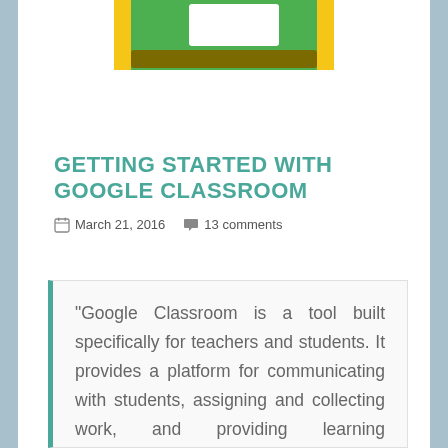[Figure (illustration): Google Classroom logo graphic — a yellow/green rounded rectangle with a small white rectangle (representing a classroom/projector screen) on top, and a dark brown/olive horizontal bar beneath it. The image is cropped at the top, showing just the lower portion of the logo.]
GETTING STARTED WITH GOOGLE CLASSROOM
March 21, 2016  13 comments
“Google Classroom is a tool built specifically for teachers and students. It provides a platform for communicating with students, assigning and collecting work, and providing learning resources.”